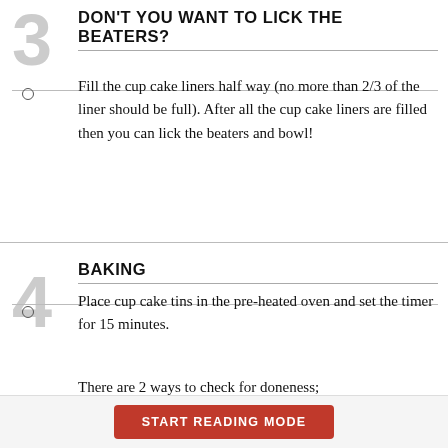DON'T YOU WANT TO LICK THE BEATERS?
Fill the cup cake liners half way (no more than 2/3 of the liner should be full). After all the cup cake liners are filled then you can lick the beaters and bowl!
BAKING
Place cup cake tins in the pre-heated oven and set the timer for 15 minutes.
There are 2 ways to check for doneness;
START READING MODE